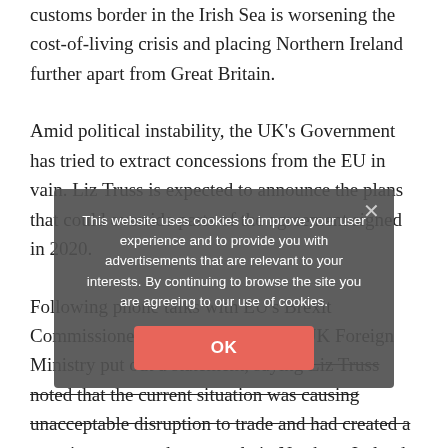customs border in the Irish Sea is worsening the cost-of-living crisis and placing Northern Ireland further apart from Great Britain.
Amid political instability, the UK's Government has tried to extract concessions from the EU in vain. Liz Truss is expected to announce the plans that could override parts of the agreement signed in 2020.
Following phone talks with EU's Brexit Commissioner Maros Sefcovic, the UK Foreign Ministry put out a statement, saying Liz Truss noted that the current situation was causing unacceptable disruption to trade and had created a two-tier system where people in Northern Ireland weren't being treated the same as everyone else in the UK.
This website uses cookies to improve your user experience and to provide you with advertisements that are relevant to your interests. By continuing to browse the site you are agreeing to our use of cookies.
OK